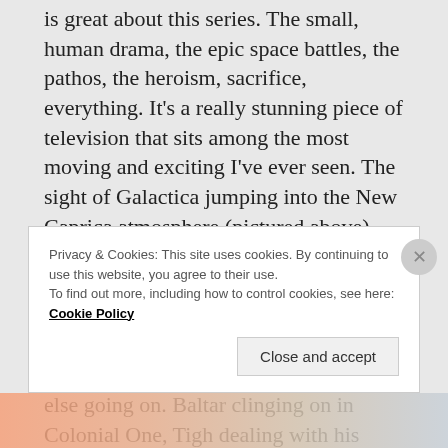is great about this series. The small, human drama, the epic space battles, the pathos, the heroism, sacrifice, everything. It's a really stunning piece of television that sits among the most moving and exciting I've ever seen. The sight of Galactica jumping into the New Caprica atmosphere (pictured above) gets me every time. the sight of Pegasus as she moves into view chasing down the besieged ship later on is another bit that gets me punching the air. Aside from all this, though, there is so much else going on. Baltar clinging on in Colonial One, Tigh dealing with his collaborating wife and Starbuck...
Privacy & Cookies: This site uses cookies. By continuing to use this website, you agree to their use. To find out more, including how to control cookies, see here: Cookie Policy
Close and accept